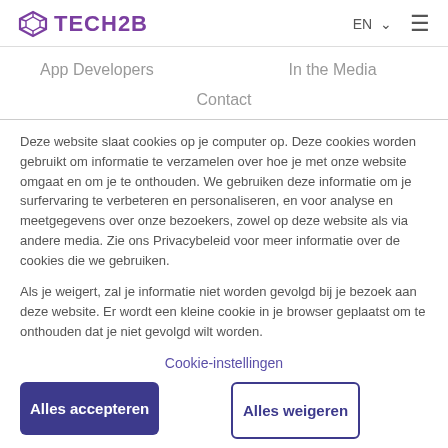TECH2B — EN ☰
App Developers    In the Media

Contact
Deze website slaat cookies op je computer op. Deze cookies worden gebruikt om informatie te verzamelen over hoe je met onze website omgaat en om je te onthouden. We gebruiken deze informatie om je surfervaring te verbeteren en personaliseren, en voor analyse en meetgegevens over onze bezoekers, zowel op deze website als via andere media. Zie ons Privacybeleid voor meer informatie over de cookies die we gebruiken.
Als je weigert, zal je informatie niet worden gevolgd bij je bezoek aan deze website. Er wordt een kleine cookie in je browser geplaatst om te onthouden dat je niet gevolgd wilt worden.
Cookie-instellingen
Alles accepteren
Alles weigeren